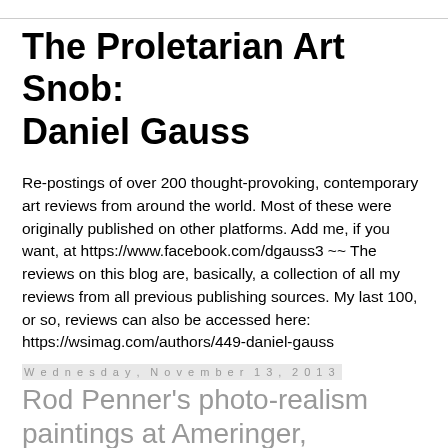The Proletarian Art Snob: Daniel Gauss
Re-postings of over 200 thought-provoking, contemporary art reviews from around the world. Most of these were originally published on other platforms. Add me, if you want, at https://www.facebook.com/dgauss3 ~~ The reviews on this blog are, basically, a collection of all my reviews from all previous publishing sources. My last 100, or so, reviews can also be accessed here: https://wsimag.com/authors/449-daniel-gauss
Wednesday, November 13, 2013
Rod Penner's photo-realism paintings at Ameringer, McEnery, Yohe Gallery in Chelsea